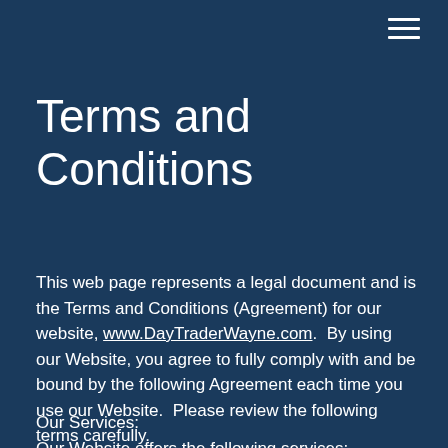≡
Terms and Conditions
This web page represents a legal document and is the Terms and Conditions (Agreement) for our website, www.DayTraderWayne.com.  By using our Website, you agree to fully comply with and be bound by the following Agreement each time you use our Website.  Please review the following terms carefully.
Our Services:
Our Website offers the following services: